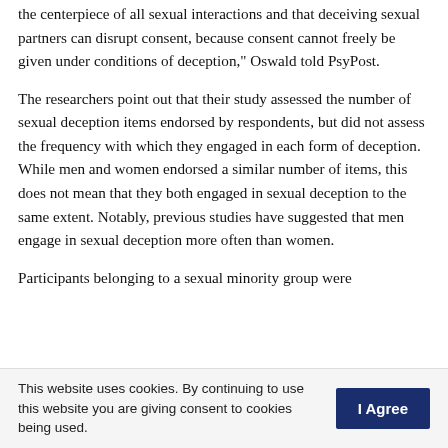the centerpiece of all sexual interactions and that deceiving sexual partners can disrupt consent, because consent cannot freely be given under conditions of deception," Oswald told PsyPost.
The researchers point out that their study assessed the number of sexual deception items endorsed by respondents, but did not assess the frequency with which they engaged in each form of deception. While men and women endorsed a similar number of items, this does not mean that they both engaged in sexual deception to the same extent. Notably, previous studies have suggested that men engage in sexual deception more often than women.
Participants belonging to a sexual minority group were
This website uses cookies. By continuing to use this website you are giving consent to cookies being used.